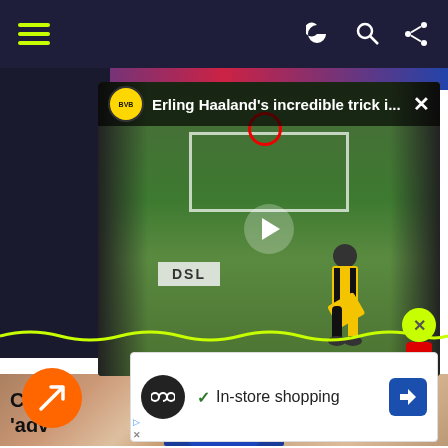Navigation bar with hamburger menu and icons
[Figure (screenshot): Video thumbnail of Erling Haaland trick at Borussia Dortmund training. Shows football pitch with goal net, player in yellow/black Dortmund kit, DSL advertising board, Bundesliga logo. Video title overlay reads "Erling Haaland's incredible trick i..."]
Che 'adv
[Figure (photo): Young blonde footballer wearing blue Everton jersey with Hummel branding, photographed against blurred crowd background]
[Figure (screenshot): Advertisement banner showing infinity loop icon, checkmark, text 'In-store shopping', and navigation arrow icon]